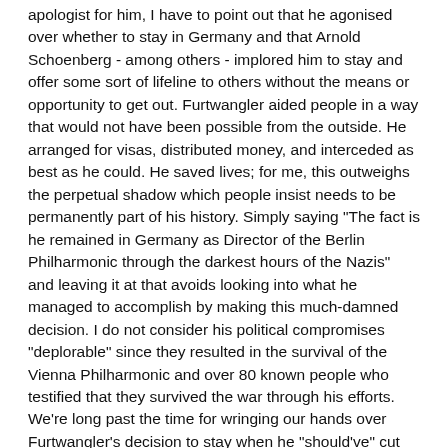apologist for him, I have to point out that he agonised over whether to stay in Germany and that Arnold Schoenberg - among others - implored him to stay and offer some sort of lifeline to others without the means or opportunity to get out. Furtwangler aided people in a way that would not have been possible from the outside. He arranged for visas, distributed money, and interceded as best as he could. He saved lives; for me, this outweighs the perpetual shadow which people insist needs to be permanently part of his history. Simply saying "The fact is he remained in Germany as Director of the Berlin Philharmonic through the darkest hours of the Nazis" and leaving it at that avoids looking into what he managed to accomplish by making this much-damned decision. I do not consider his political compromises "deplorable" since they resulted in the survival of the Vienna Philharmonic and over 80 known people who testified that they survived the war through his efforts. We're long past the time for wringing our hands over Furtwangler's decision to stay when he "should've" cut and run. I think the guy the...